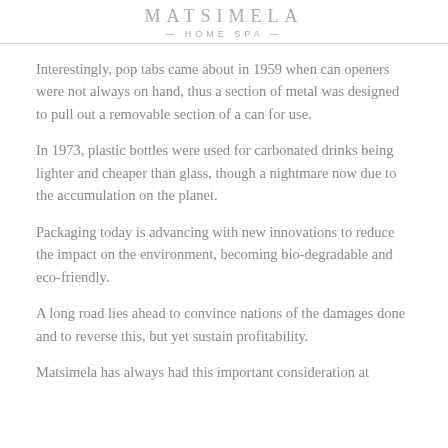MATSIMELA
— HOME SPA —
Interestingly, pop tabs came about in 1959 when can openers were not always on hand, thus a section of metal was designed to pull out a removable section of a can for use.
In 1973, plastic bottles were used for carbonated drinks being lighter and cheaper than glass, though a nightmare now due to the accumulation on the planet.
Packaging today is advancing with new innovations to reduce the impact on the environment, becoming bio-degradable and eco-friendly.
A long road lies ahead to convince nations of the damages done and to reverse this, but yet sustain profitability.
Matsimela has always had this important consideration at